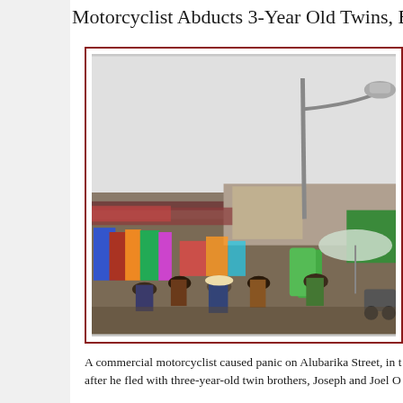Motorcyclist Abducts 3-Year Old Twins, But W
[Figure (photo): Street market scene with a tall street lamp in the foreground, market stalls and vendors in the background, colorful goods displayed, people gathered under umbrellas.]
A commercial motorcyclist caused panic on Alubarika Street, in t after he fled with three-year-old twin brothers, Joseph and Joel O